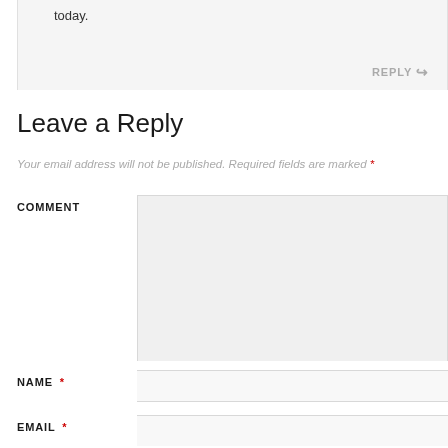today.
REPLY ↪
Leave a Reply
Your email address will not be published. Required fields are marked *
COMMENT
NAME *
EMAIL *